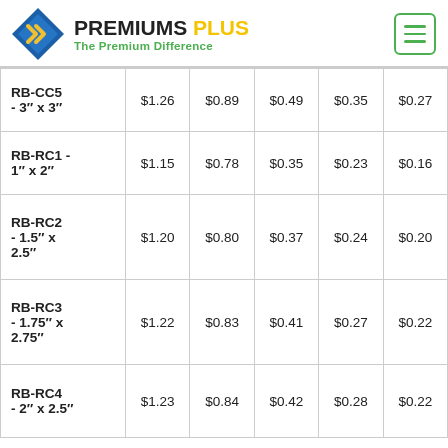Premiums Plus — The Premium Difference
| Product | Price 1 | Price 2 | Price 3 | Price 4 | Price 5 |
| --- | --- | --- | --- | --- | --- |
| RB-CC5 - 3" x 3" | $1.26 | $0.89 | $0.49 | $0.35 | $0.27 |
| RB-RC1 - 1" x 2" | $1.15 | $0.78 | $0.35 | $0.23 | $0.16 |
| RB-RC2 - 1.5" x 2.5" | $1.20 | $0.80 | $0.37 | $0.24 | $0.20 |
| RB-RC3 - 1.75" x 2.75" | $1.22 | $0.83 | $0.41 | $0.27 | $0.22 |
| RB-RC4 - 2" x 2.5" | $1.23 | $0.84 | $0.42 | $0.28 | $0.22 |